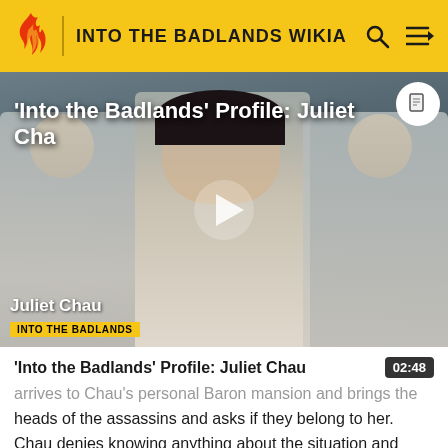INTO THE BADLANDS WIKIA
[Figure (screenshot): Video thumbnail showing Juliet Chau character from Into the Badlands with play button overlay. Title reads 'Into the Badlands' Profile: Juliet Cha...]
'Into the Badlands' Profile: Juliet Chau  02:48
arrives to Chau's personal Baron mansion and brings the heads of the assassins and asks if they belong to her. Chau denies knowing anything about the situation and puts the blame on her brother. Pilgrim orders her to give